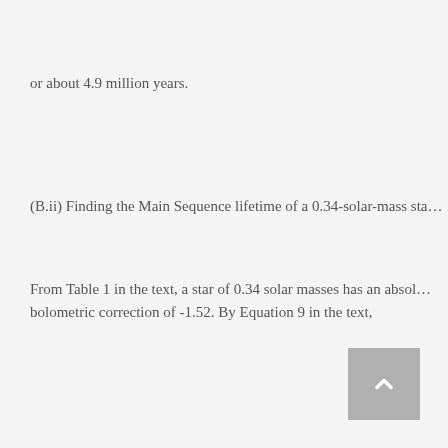or about 4.9 million years.
(B.ii) Finding the Main Sequence lifetime of a 0.34-solar-mass sta…
From Table 1 in the text, a star of 0.34 solar masses has an absol… bolometric correction of -1.52. By Equation 9 in the text,